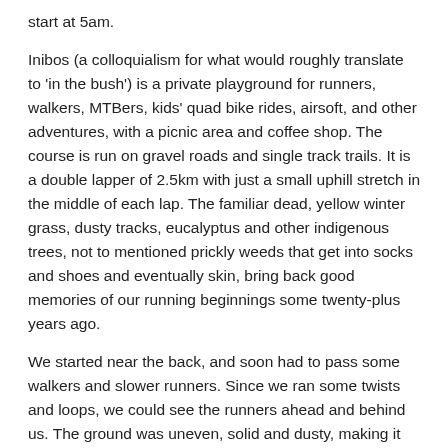start at 5am.
Inibos (a colloquialism for what would roughly translate to 'in the bush') is a private playground for runners, walkers, MTBers, kids' quad bike rides, airsoft, and other adventures, with a picnic area and coffee shop. The course is run on gravel roads and single track trails. It is a double lapper of 2.5km with just a small uphill stretch in the middle of each lap. The familiar dead, yellow winter grass, dusty tracks, eucalyptus and other indigenous trees, not to mentioned prickly weeds that get into socks and shoes and eventually skin, bring back good memories of our running beginnings some twenty-plus years ago.
We started near the back, and soon had to pass some walkers and slower runners. Since we ran some twists and loops, we could see the runners ahead and behind us. The ground was uneven, solid and dusty, making it hand to just tune out and run.
We were going at a reasonable clip despite the fact that we're